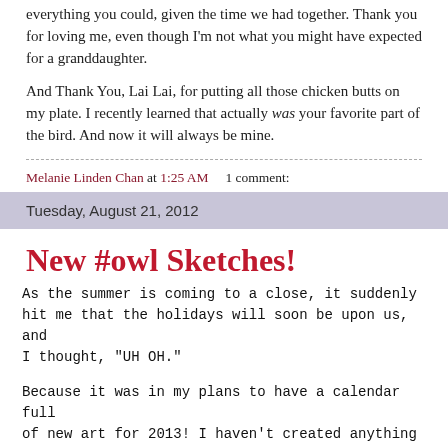everything you could, given the time we had together. Thank you for loving me, even though I'm not what you might have expected for a granddaughter.
And Thank You, Lai Lai, for putting all those chicken butts on my plate. I recently learned that actually was your favorite part of the bird. And now it will always be mine.
Melanie Linden Chan at 1:25 AM    1 comment:
Tuesday, August 21, 2012
New #owl Sketches!
As the summer is coming to a close, it suddenly hit me that the holidays will soon be upon us, and I thought, "UH OH."
Because it was in my plans to have a calendar full of new art for 2013! I haven't created anything frame-worthy for a while due to working on Little